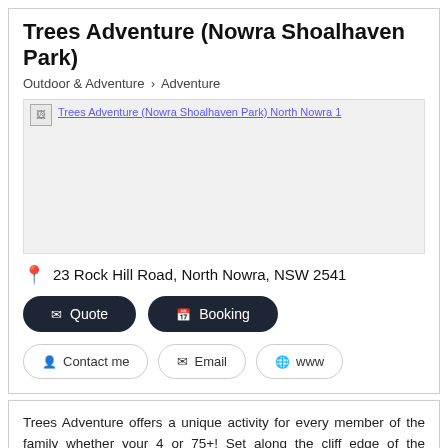Trees Adventure (Nowra Shoalhaven Park)
Outdoor & Adventure › Adventure
[Figure (photo): Trees Adventure (Nowra Shoalhaven Park) North Nowra 1 — placeholder image with broken image icon and alt text]
23 Rock Hill Road, North Nowra, NSW 2541
✉ Quote   📅 Booking
👤 Contact me   ✉ Email   🌐 www
Trees Adventure offers a unique activity for every member of the family whether your 4 or 75+! Set along the cliff edge of the beautiful Shoalhaven River inside of the Shoalhaven Zoo of North Nowra, you'll get to enjoy the river views as you climb along the cliff edge. Our park is made of 6 courses with a total of over 70 challenges. Courses consist of